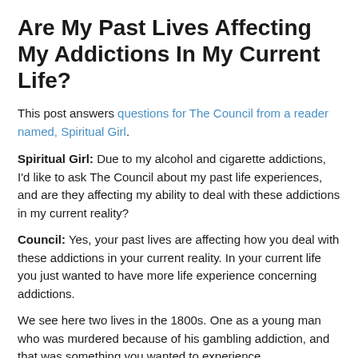Are My Past Lives Affecting My Addictions In My Current Life?
This post answers questions for The Council from a reader named, Spiritual Girl.
Spiritual Girl: Due to my alcohol and cigarette addictions, I'd like to ask The Council about my past life experiences, and are they affecting my ability to deal with these addictions in my current reality?
Council: Yes, your past lives are affecting how you deal with these addictions in your current reality. In your current life you just wanted to have more life experience concerning addictions.
We see here two lives in the 1800s. One as a young man who was murdered because of his gambling addiction, and that was something you wanted to experience.
Then there was a life where you were sick and you were addicted to a drug that was called laudanum at that time.